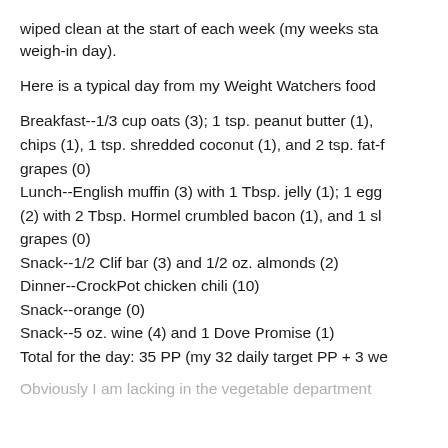wiped clean at the start of each week (my weeks sta weigh-in day).
Here is a typical day from my Weight Watchers food
Breakfast--1/3 cup oats (3); 1 tsp. peanut butter (1), chips (1), 1 tsp. shredded coconut (1), and 2 tsp. fat-f grapes (0)
Lunch--English muffin (3) with 1 Tbsp. jelly (1); 1 egg (2) with 2 Tbsp. Hormel crumbled bacon (1), and 1 sl grapes (0)
Snack--1/2 Clif bar (3) and 1/2 oz. almonds (2)
Dinner--CrockPot chicken chili (10)
Snack--orange (0)
Snack--5 oz. wine (4) and 1 Dove Promise (1)
Total for the day: 35 PP (my 32 daily target PP + 3 we
Obviously I am lacking in the vegetable department